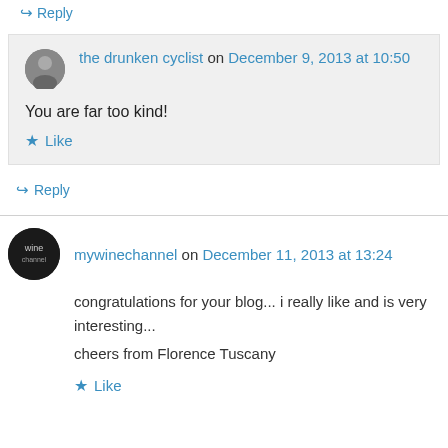↪ Reply
the drunken cyclist on December 9, 2013 at 10:50
You are far too kind!
★ Like
↪ Reply
mywinechannel on December 11, 2013 at 13:24
congratulations for your blog... i really like and is very interesting...
cheers from Florence Tuscany
★ Like